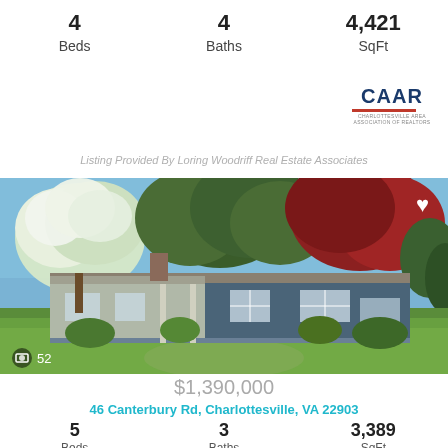4 Beds  4 Baths  4,421 SqFt
[Figure (logo): CAAR (Charlottesville Area Association of Realtors) logo]
Listing Provided By Loring Woodriff Real Estate Associates
[Figure (photo): Exterior photo of a blue single-story ranch house with covered porch, surrounded by trees including white flowering dogwood and red maple, with green lawn in foreground. Photo count: 52.]
$1,390,000
46 Canterbury Rd, Charlottesville, VA 22903
5 Beds  3 Baths  3,389 SqFt